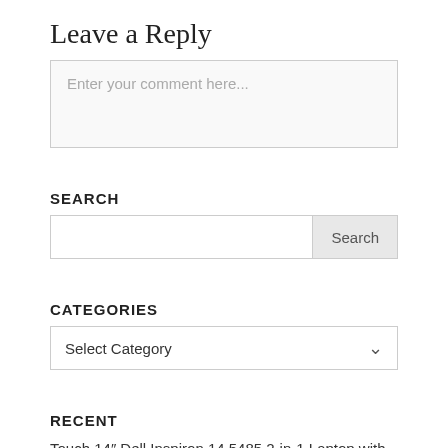Leave a Reply
Enter your comment here...
SEARCH
Search
CATEGORIES
Select Category
RECENT
Touch 14″ Dell Inspiron 14 5485 2-in-1 Laptop with AMD Ryzen 5 3500U, Radeon VEGA 8 Graphics, 8GB DDR4 Memory, 128GB SSD for $399.99 Shipped from